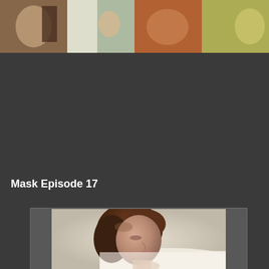[Figure (photo): Horizontal strip of four thumbnail photos at the top of the page showing various scenes]
Mask Episode 17
[Figure (photo): A woman with brown hair in profile/side view, eyes closed, resting against white fabric]